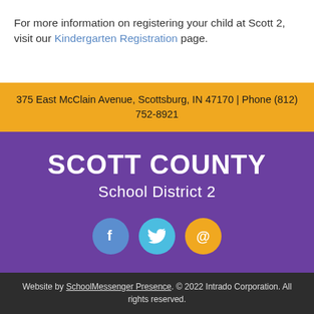For more information on registering your child at Scott 2, visit our Kindergarten Registration page.
375 East McClain Avenue, Scottsburg, IN 47170 | Phone (812) 752-8921
SCOTT COUNTY School District 2
[Figure (other): Social media icons: Facebook (blue circle with f), Twitter (cyan circle with bird), Email (orange circle with @ symbol)]
Website by SchoolMessenger Presence. © 2022 Intrado Corporation. All rights reserved.